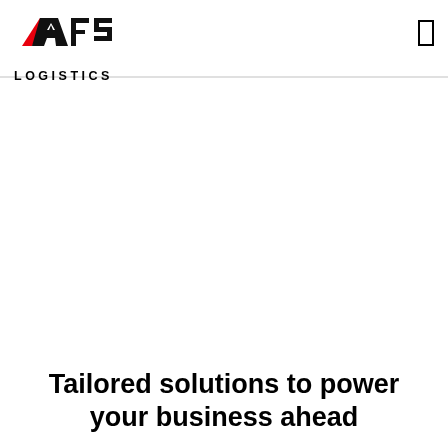AFS LOGISTICS
[Figure (logo): AFS Logistics logo with red parallelogram accent and bold black AFS lettering above LOGISTICS text]
Tailored solutions to power your business ahead